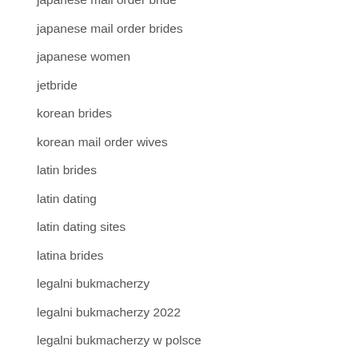japanese mail order bride
japanese mail order brides
japanese women
jetbride
korean brides
korean mail order wives
latin brides
latin dating
latin dating sites
latina brides
legalni bukmacherzy
legalni bukmacherzy 2022
legalni bukmacherzy w polsce
legalny bukmacher w polsce